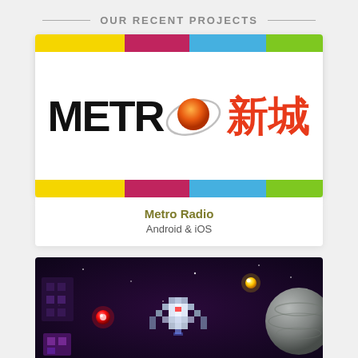OUR RECENT PROJECTS
[Figure (logo): Metro Radio logo card with colorful top and bottom bars, METRO text in black with orange sphere and orbit ring, Chinese characters 新城 in red]
Metro Radio
Android & iOS
[Figure (screenshot): Dark space-themed pixel art game screenshot with a spacecraft, red glowing orb, yellow star, and planet on dark purple background]